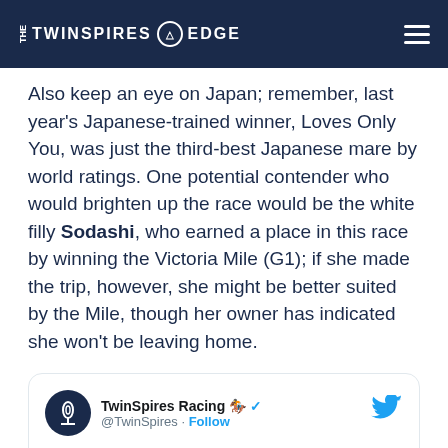THE TWINSPIRES EDGE
Also keep an eye on Japan; remember, last year's Japanese-trained winner, Loves Only You, was just the third-best Japanese mare by world ratings. One potential contender who would brighten up the race would be the white filly Sodashi, who earned a place in this race by winning the Victoria Mile (G1); if she made the trip, however, she might be better suited by the Mile, though her owner has indicated she won't be leaving home.
[Figure (screenshot): Embedded tweet from @TwinSpires (TwinSpires Racing) with Twitter blue check. Text reads: #WarLikeGoddess gets up between]
TwinSpires Racing 🏇 @TwinSpires · Follow
#WarLikeGoddess gets up between